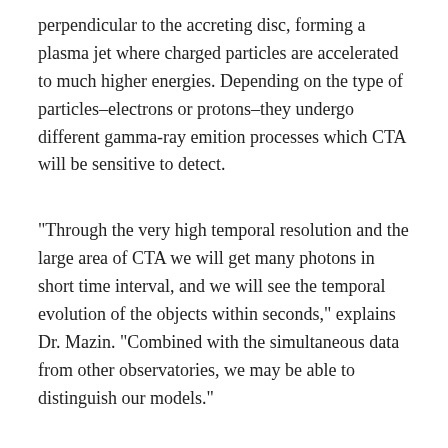perpendicular to the accreting disc, forming a plasma jet where charged particles are accelerated to much higher energies. Depending on the type of particles–electrons or protons–they undergo different gamma-ray emition processes which CTA will be sensitive to detect.
“Through the very high temporal resolution and the large area of CTA we will get many photons in short time interval, and we will see the temporal evolution of the objects within seconds,” explains Dr. Mazin. “Combined with the simultaneous data from other observatories, we may be able to distinguish our models.”
Distant energetic sources of very high energy gamma-rays are